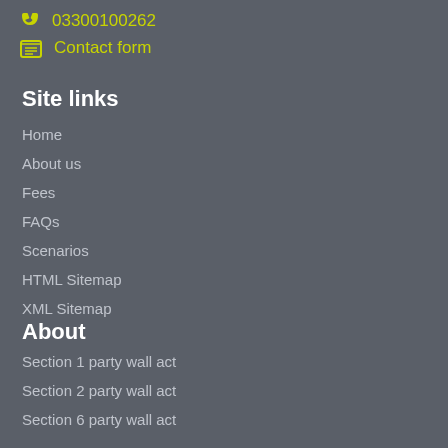03300100262
Contact form
Site links
Home
About us
Fees
FAQs
Scenarios
HTML Sitemap
XML Sitemap
About
Section 1 party wall act
Section 2 party wall act
Section 6 party wall act
The home owner